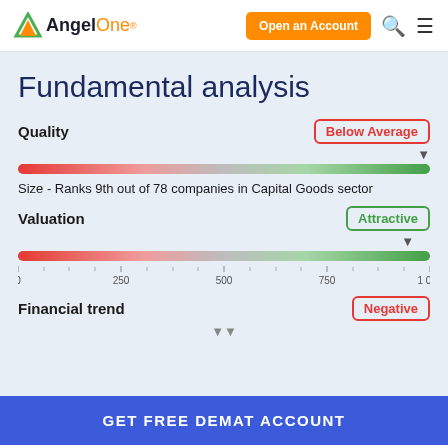AngelOne — Open an Account
Fundamental analysis
Quality
Below Average
[Figure (other): Horizontal gradient bar from red to green with arrow indicator near right end, representing Quality score]
Size - Ranks 9th out of 78 companies in Capital Goods sector
Valuation
Attractive
[Figure (other): Horizontal gradient bar from red to green with arrow indicator near right end and axis labels 0, 250, 500, 750, 1000, representing Valuation score]
Financial trend
Negative
GET FREE DEMAT ACCOUNT